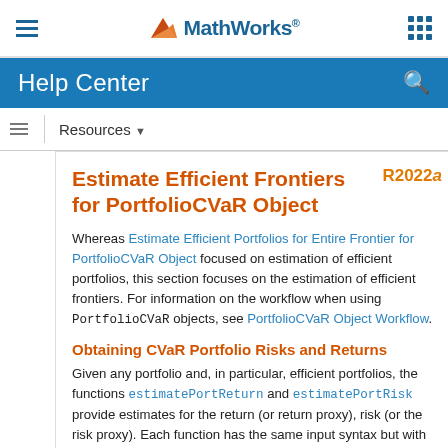MathWorks Help Center
Estimate Efficient Frontiers for PortfolioCVaR Object
Whereas Estimate Efficient Portfolios for Entire Frontier for PortfolioCVaR Object focused on estimation of efficient portfolios, this section focuses on the estimation of efficient frontiers. For information on the workflow when using PortfolioCVaR objects, see PortfolioCVaR Object Workflow.
Obtaining CVaR Portfolio Risks and Returns
Given any portfolio and, in particular, efficient portfolios, the functions estimatePortReturn and estimatePortRisk provide estimates for the return (or return proxy), risk (or the risk proxy). Each function has the same input syntax but with different combinations of outputs. Suppose that you have this following